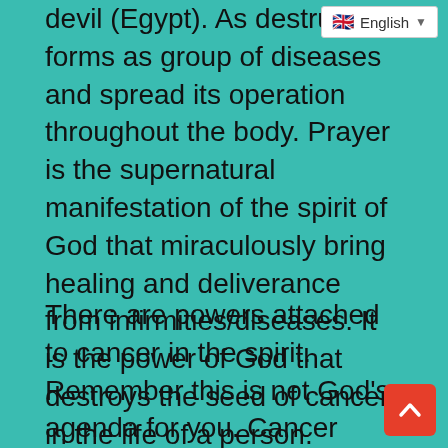devil (Egypt). As destructive forms as group of diseases and spread its operation throughout the body. Prayer is the supernatural manifestation of the spirit of God that miraculously bring healing and deliverance from infirmities/diseases. It is the power of God that destroys the seed of cancer in the life of a person.
There are powers attached to cancer in the spirit. Remember this is not God's agenda for you. Cancer patient under the negative influence of the devil may have been programmed to nurse that problems for a longer period of time. What makes a woman develop breast cancer all of a sudden is the